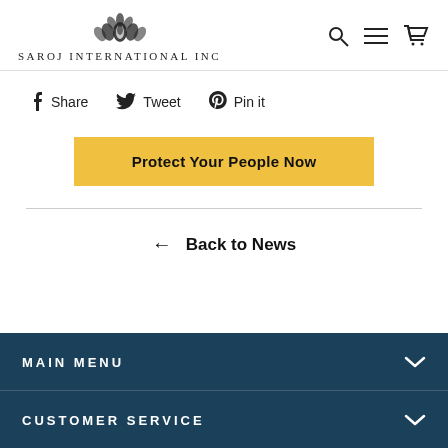Saroj International Inc
f Share   Tweet   Pin it
Protect Your People Now
← Back to News
MAIN MENU
CUSTOMER SERVICE